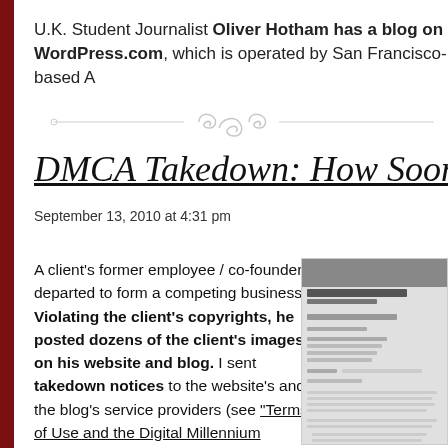U.K. Student Journalist Oliver Hotham has a blog on WordPress.com, which is operated by San Francisco-based A
[Figure (illustration): Decorative divider with scrollwork and flourishes]
DMCA Takedown: How Soon is "Expe...
September 13, 2010 at 4:31 pm
A client's former employee / co-founder departed to form a competing business. Violating the client's copyrights, he posted dozens of the client's images on his website and blog. I sent takedown notices to the website's and the blog's service providers (see "Terms of Use and the Digital Millennium Copyright Act [DMCA]"). I wondered how expeditiously the service providers would...
[Figure (photo): Partial view of a legal letter from Dana H. Shu, Attorney at Law, dated September 2010, addressed to Linda L. Larsen, Network Solutions]